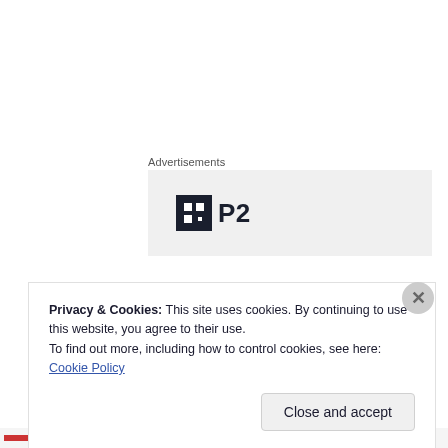Advertisements
[Figure (logo): P2 advertisement banner with dark square icon logo and bold 'P2' text on light grey background]
[Figure (photo): Top portion of a dark wine bottle with brown/copper foil cap on white background]
Privacy & Cookies: This site uses cookies. By continuing to use this website, you agree to their use.
To find out more, including how to control cookies, see here: Cookie Policy
Close and accept